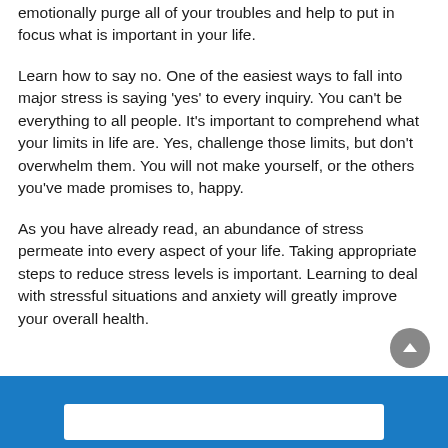emotionally purge all of your troubles and help to put in focus what is important in your life.
Learn how to say no. One of the easiest ways to fall into major stress is saying 'yes' to every inquiry. You can't be everything to all people. It's important to comprehend what your limits in life are. Yes, challenge those limits, but don't overwhelm them. You will not make yourself, or the others you've made promises to, happy.
As you have already read, an abundance of stress permeate into every aspect of your life. Taking appropriate steps to reduce stress levels is important. Learning to deal with stressful situations and anxiety will greatly improve your overall health.